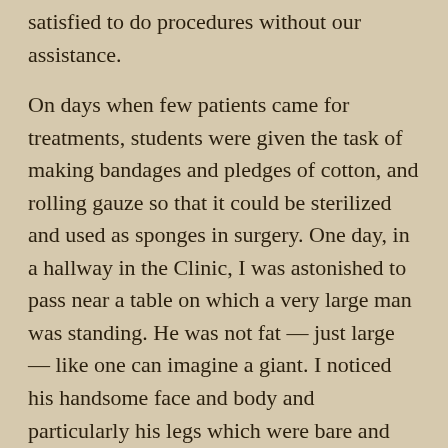satisfied to do procedures without our assistance.
On days when few patients came for treatments, students were given the task of making bandages and pledges of cotton, and rolling gauze so that it could be sterilized and used as sponges in surgery. One day, in a hallway in the Clinic, I was astonished to pass near a table on which a very large man was standing. He was not fat — just large — like one can imagine a giant. I noticed his handsome face and body and particularly his legs which were bare and fully exposed. His long legs were muscular but rippled with varicose veins. From his general appearance, I thought he could play the part of a gladiator in a Hollywood movie.
Several doctors were in attendance. I could overhear their muffled voices as they were apparently